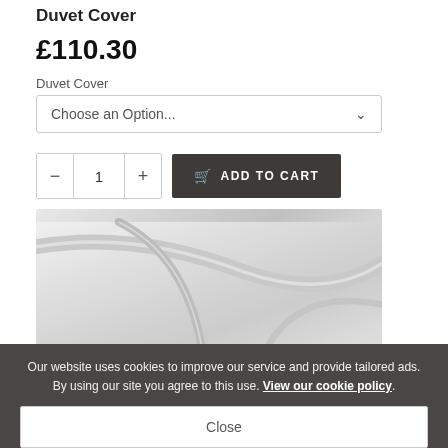Duvet Cover
£110.30
Duvet Cover
Choose an Option...
1
ADD TO CART
[Figure (photo): Close-up photo of white duvet cover fabric showing soft folds and texture]
Our website uses cookies to improve our service and provide tailored ads. By using our site you agree to this use. View our cookie policy.
Close